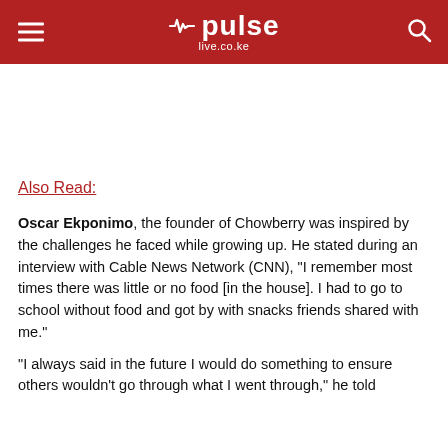pulse live.co.ke
Also Read:
Oscar Ekponimo, the founder of Chowberry was inspired by the challenges he faced while growing up. He stated during an interview with Cable News Network (CNN), "I remember most times there was little or no food [in the house]. I had to go to school without food and got by with snacks friends shared with me."
"I always said in the future I would do something to ensure others wouldn't go through what I went through," he told